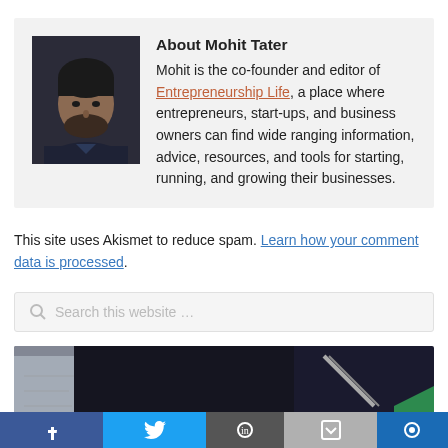About Mohit Tater
Mohit is the co-founder and editor of Entrepreneurship Life, a place where entrepreneurs, start-ups, and business owners can find wide ranging information, advice, resources, and tools for starting, running, and growing their businesses.
This site uses Akismet to reduce spam. Learn how your comment data is processed.
[Figure (screenshot): Search box with placeholder text 'Search this website ...']
[Figure (photo): Bottom partial image showing a dark laptop/tech background with partial view]